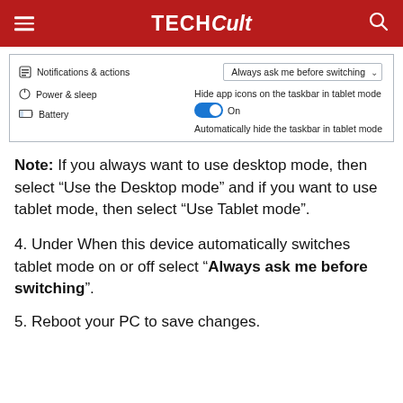TECHCult
[Figure (screenshot): Windows Settings screenshot showing Notifications & actions, Power & sleep, Battery menu items on left; on right: a dropdown set to 'Always ask me before switching', 'Hide app icons on the taskbar in tablet mode' with toggle On, and 'Automatically hide the taskbar in tablet mode' text.]
Note: If you always want to use desktop mode, then select “Use the Desktop mode” and if you want to use tablet mode, then select “Use Tablet mode”.
4. Under When this device automatically switches tablet mode on or off select “Always ask me before switching”.
5. Reboot your PC to save changes.